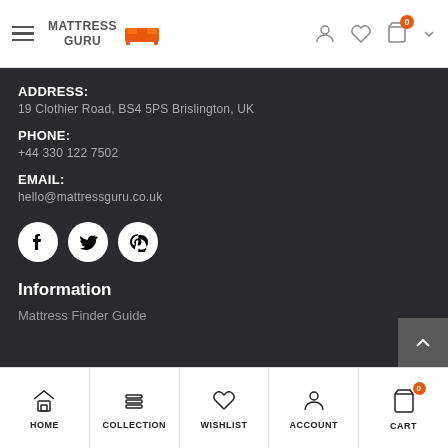Mattress Guru — navigation header with hamburger menu, logo, and icons
ADDRESS:
19 Clothier Road, BS4 5PS Brislington, UK
PHONE:
+44 330 122 7502
EMAIL:
hello@mattressguru.co.uk
[Figure (illustration): Social media icons: Facebook, Twitter, Pinterest]
Information
Mattress Finder Guide
Bottom navigation: HOME, COLLECTION, WISHLIST, ACCOUNT, CART